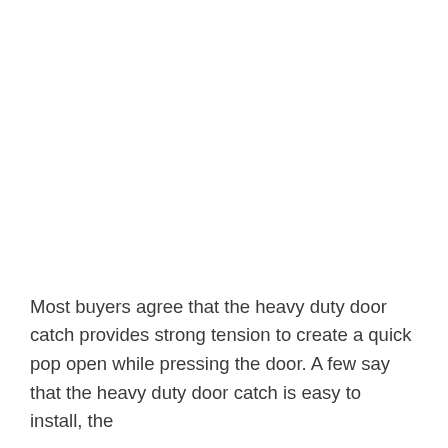Most buyers agree that the heavy duty door catch provides strong tension to create a quick pop open while pressing the door. A few say that the heavy duty door catch is easy to install, the